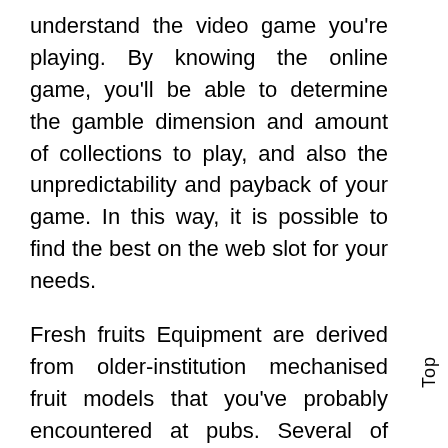understand the video game you're playing. By knowing the online game, you'll be able to determine the gamble dimension and amount of collections to play, and also the unpredictability and payback of your game. In this way, it is possible to find the best on the web slot for your needs.
Fresh fruits Equipment are derived from older-institution mechanised fruit models that you've probably encountered at pubs. Several of these video games happen to be designed with a antique design and style under consideration, but have modern day-day time capabilities. You'll also be able to enjoy additional bonuses and
Top